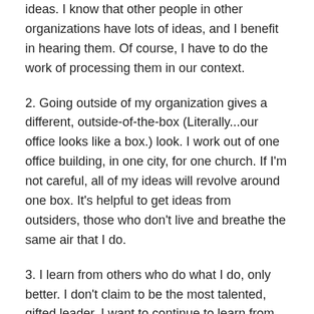ideas. I know that other people in other organizations have lots of ideas, and I benefit in hearing them. Of course, I have to do the work of processing them in our context.
2. Going outside of my organization gives a different, outside-of-the-box (Literally...our office looks like a box.) look. I work out of one office building, in one city, for one church. If I'm not careful, all of my ideas will revolve around one box. It's helpful to get ideas from outsiders, those who don't live and breathe the same air that I do.
3. I learn from others who do what I do, only better. I don't claim to be the most talented, gifted leader. I want to continue to learn from those who perform better than I do.